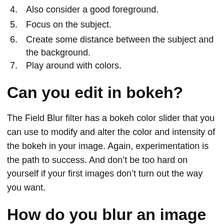4. Also consider a good foreground.
5. Focus on the subject.
6. Create some distance between the subject and the background.
7. Play around with colors.
Can you edit in bokeh?
The Field Blur filter has a bokeh color slider that you can use to modify and alter the color and intensity of the bokeh in your image. Again, experimentation is the path to success. And don't be too hard on yourself if your first images don't turn out the way you want.
How do you blur an image